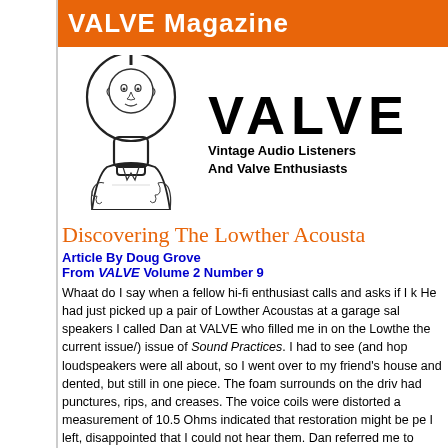VALVE Magazine
[Figure (illustration): Illustration of a man inside a vacuum tube shape, with the large text VALVE to the right and subtitle 'Vintage Audio Listeners And Valve Enthusiasts']
Discovering The Lowther Acousta
Article By Doug Grove
From VALVE Volume 2 Number 9
Whaat do I say when a fellow hi-fi enthusiast calls and asks if I k... He had just picked up a pair of Lowther Acoustas at a garage sale... speakers I called Dan at VALVE who filled me in on the Lowthe... the current issue/) issue of Sound Practices. I had to see (and hop... loudspeakers were all about, so I went over to my friend's house... and dented, but still in one piece. The foam surrounds on the driv... had punctures, rips, and creases. The voice coils were distorted a... measurement of 10.5 Ohms indicated that restoration might be pe... I left, disappointed that I could not hear them. Dan referred me to... represents Lowther state-side. After a lengthy and very informati... recommended to coning each driver with a new Lowther cone...